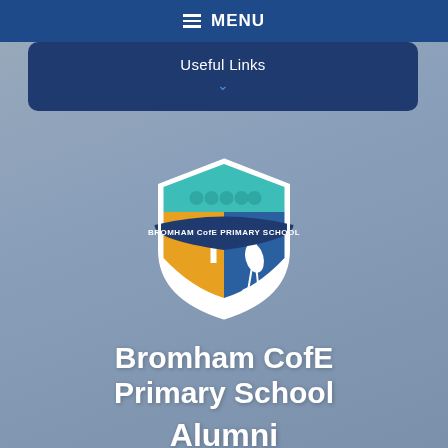MENU
Useful Links
[Figure (logo): Bromham CofE Primary School shield logo with teal top section, orange left panel with cross, blue right panel with heron bird, and a banner reading BROMHAM CofE PRIMARY SCHOOL]
Bromham CofE Primary School
Alumni